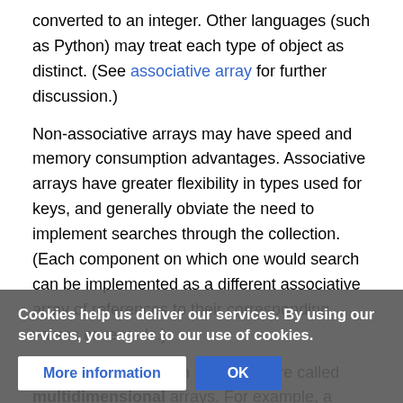converted to an integer. Other languages (such as Python) may treat each type of object as distinct. (See associative array for further discussion.)
Non-associative arrays may have speed and memory consumption advantages. Associative arrays have greater flexibility in types used for keys, and generally obviate the need to implement searches through the collection. (Each component on which one would search can be implemented as a different associative array of references to their corresponding values or records.)
Arrays with more than one index are called multidimensional arrays. For example, a matrix is a two-dimensional array.
Some languages (such as AWK) do not support true arrays; they may simulate them through their associative arrays. Similarly, some multi-
Cookies help us deliver our services. By using our services, you agree to our use of cookies.